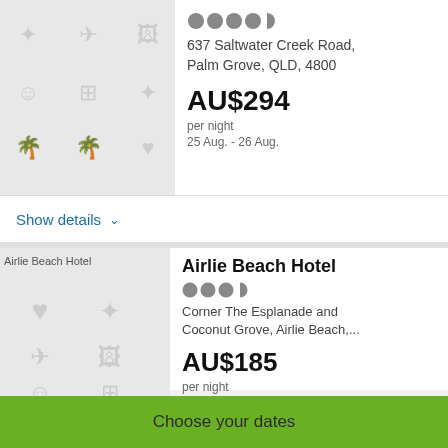[Figure (other): Hotel image placeholder with gray icon grid pattern]
637 Saltwater Creek Road, Palm Grove, QLD, 4800
AU$294
per night
25 Aug. - 26 Aug.
Show details ∨
[Figure (photo): Airlie Beach Hotel image placeholder (broken image) labeled 'Airlie Beach Hotel']
Airlie Beach Hotel
Corner The Esplanade and Coconut Grove, Airlie Beach,...
AU$185
per night
23 Aug. - 24 Aug.
Choose your dates